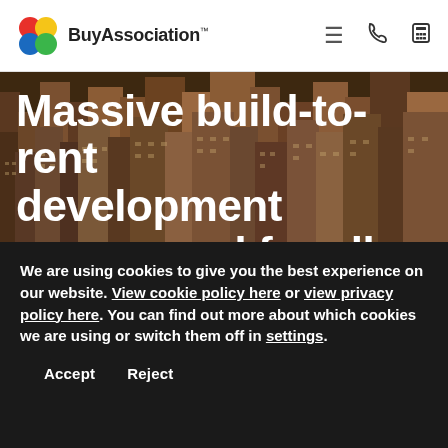[Figure (logo): BuyAssociation logo with colorful circles (red, yellow, blue, green) and bold text 'BuyAssociation' with trademark symbol]
[Figure (photo): Aerial view of dense urban cityscape with tall buildings and skyscrapers, dark tones. Overlaid with large white bold text headline: 'Massive build-to-rent development announced for all over UK']
We are using cookies to give you the best experience on our website. View cookie policy here or view privacy policy here. You can find out more about which cookies we are using or switch them off in settings.
Accept   Reject